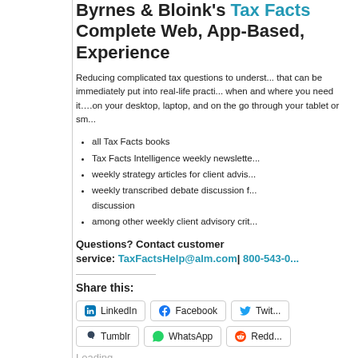Byrnes & Bloink's Tax Facts Complete Web, App-Based, Experience
Reducing complicated tax questions to understandable answers that can be immediately put into real-life practice, available when and where you need it....on your desktop laptop, and on the go through your tablet or sm...
all Tax Facts books
Tax Facts Intelligence weekly newsletter
weekly strategy articles for client advis...
weekly transcribed debate discussion f... discussion
among other weekly client advisory crit...
Questions? Contact customer service: TaxFactsHelp@alm.com| 800-543-0...
Share this:
LinkedIn  Facebook  Twit...  Tumblr  WhatsApp  Redd...
Loading...